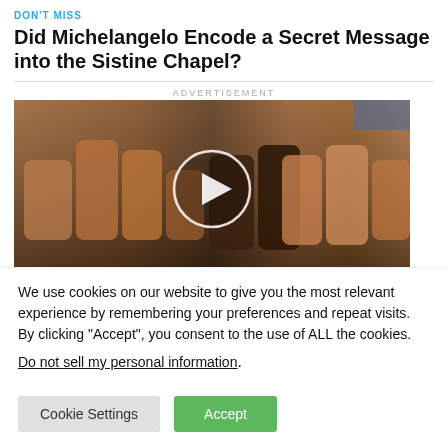DON'T MISS
Did Michelangelo Encode a Secret Message into the Sistine Chapel?
ADVERTISEMENT
[Figure (photo): A video thumbnail showing elderly and younger hands side by side, with a white play button circle overlay in the center.]
We use cookies on our website to give you the most relevant experience by remembering your preferences and repeat visits. By clicking “Accept”, you consent to the use of ALL the cookies.
Do not sell my personal information.
Cookie Settings | Accept